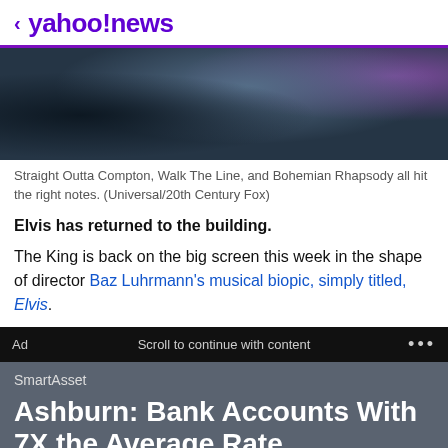< yahoo!news
[Figure (photo): Cropped photo showing people, partially visible, with dark and blue-gray tones]
Straight Outta Compton, Walk The Line, and Bohemian Rhapsody all hit the right notes. (Universal/20th Century Fox)
Elvis has returned to the building.
The King is back on the big screen this week in the shape of director Baz Luhrmann's musical biopic, simply titled, Elvis.
Ad   Scroll to continue with content   ...
SmartAsset
Ashburn: Bank Accounts With 7X the Average Rate